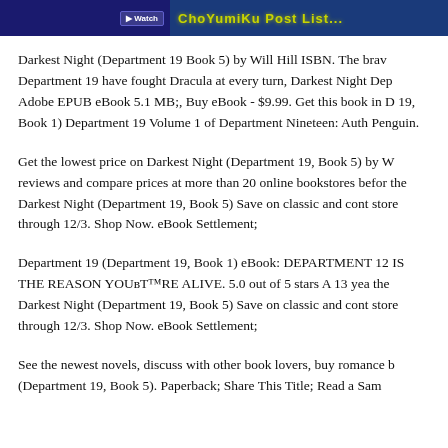[Figure (screenshot): Website header banner with dark blue background, a button on the left side, and yellow-green stylized text on the right side.]
Darkest Night (Department 19 Book 5) by Will Hill ISBN. The brave Department 19 have fought Dracula at every turn, Darkest Night Dep Adobe EPUB eBook 5.1 MB;, Buy eBook - $9.99. Get this book in D 19, Book 1) Department 19 Volume 1 of Department Nineteen: Auth Penguin.
Get the lowest price on Darkest Night (Department 19, Book 5) by W reviews and compare prices at more than 20 online bookstores befor the Darkest Night (Department 19, Book 5) Save on classic and cont store through 12/3. Shop Now. eBook Settlement;
Department 19 (Department 19, Book 1) eBook: DEPARTMENT 12 IS THE REASON YOUвТ™RE ALIVE. 5.0 out of 5 stars A 13 yea the Darkest Night (Department 19, Book 5) Save on classic and cont store through 12/3. Shop Now. eBook Settlement;
See the newest novels, discuss with other book lovers, buy romance b (Department 19, Book 5). Paperback; Share This Title; Read a Sam